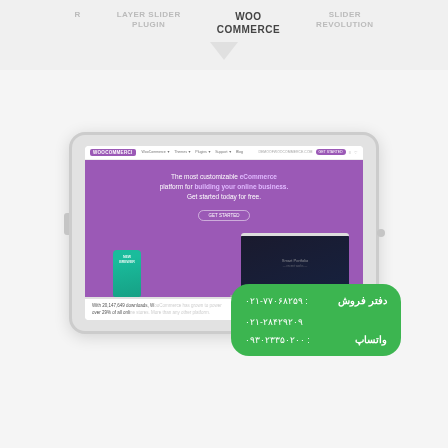LAYER SLIDER PLUGIN | WOO COMMERCE | SLIDER REVOLUTION
[Figure (screenshot): Tablet displaying the WooCommerce website homepage with purple hero section showing 'The most customizable eCommerce platform for building your online business. Get started today for free.' and a laptop mockup. A product box (coffee/spice) is shown in front. A green contact overlay shows phone numbers.]
دفتر فروش: ۰۲۱-۷۷۰۶۸۲۵۹
۰۲۱-۲۸۴۲۹۲۰۹
واتساپ : ۰۹۳۰۲۳۳۵۰۲۰۰